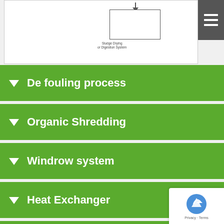[Figure (flowchart): Partial flowchart diagram showing a box labeled 'Sludge Drying or Digestion System' with a downward arrow, on a white background panel. A hamburger menu icon appears in the top-right corner.]
De fouling process
Organic Shredding
Windrow system
Heat Exchanger
Mixed Garbage and Dry Waste Segregation Process